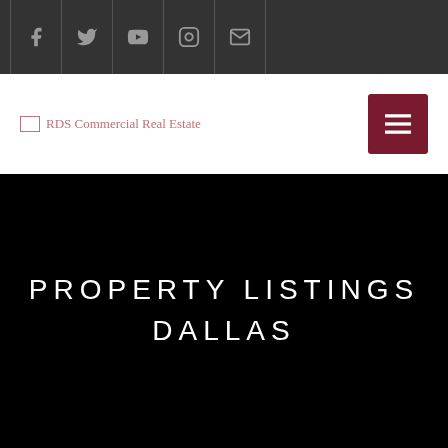Social media icons bar: Facebook, Twitter, YouTube, Instagram, Email
[Figure (logo): RDS Commercial Real Estate logo text with broken image placeholder icon]
PROPERTY LISTINGS
DALLAS